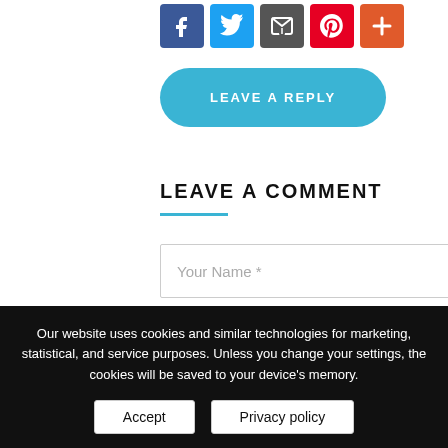[Figure (screenshot): Row of 5 social media sharing icons: Facebook (blue), Twitter (blue), Email (dark gray), Pinterest (red), More/Plus (orange-red)]
LEAVE A REPLY
LEAVE A COMMENT
Your Name *
Your Email *
Our website uses cookies and similar technologies for marketing, statistical, and service purposes. Unless you change your settings, the cookies will be saved to your device's memory.
Accept
Privacy policy